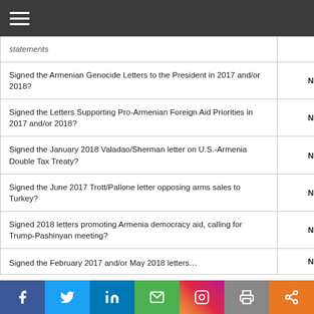| Question | Answer |
| --- | --- |
| statements |  |
| Signed the Armenian Genocide Letters to the President in 2017 and/or 2018? | No |
| Signed the Letters Supporting Pro-Armenian Foreign Aid Priorities in 2017 and/or 2018? | No |
| Signed the January 2018 Valadao/Sherman letter on U.S.-Armenia Double Tax Treaty? | No |
| Signed the June 2017 Trott/Pallone letter opposing arms sales to Turkey? | No |
| Signed 2018 letters promoting Armenia democracy aid, calling for Trump-Pashinyan meeting? | No |
| Signed the February 2017 and/or May 2018 letters… | No |
Social sharing bar: Facebook, Twitter, LinkedIn, Email, Instagram, Print, Share